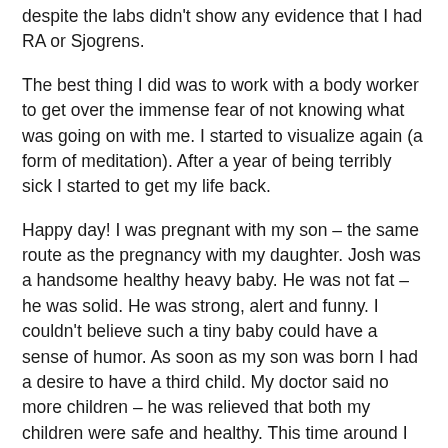despite the labs didn't show any evidence that I had RA or Sjogrens.
The best thing I did was to work with a body worker to get over the immense fear of not knowing what was going on with me. I started to visualize again (a form of meditation). After a year of being terribly sick I started to get my life back.
Happy day! I was pregnant with my son – the same route as the pregnancy with my daughter. Josh was a handsome healthy heavy baby. He was not fat – he was solid. He was strong, alert and funny. I couldn't believe such a tiny baby could have a sense of humor. As soon as my son was born I had a desire to have a third child. My doctor said no more children – he was relieved that both my children were safe and healthy. This time around I had